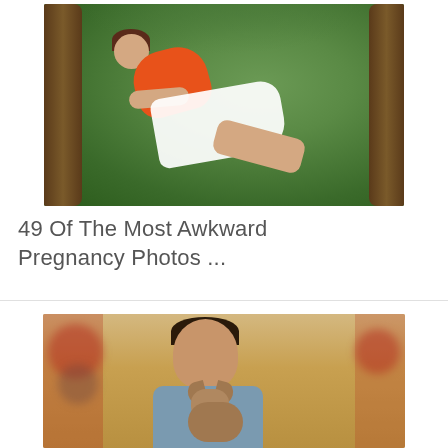[Figure (photo): A pregnant woman in an orange top and white skirt reclines against a tree outdoors in a nature setting.]
49 Of The Most Awkward Pregnancy Photos ...
[Figure (photo): A man holding a small dog (chihuahua) indoors with Christmas decorations visible in the background.]